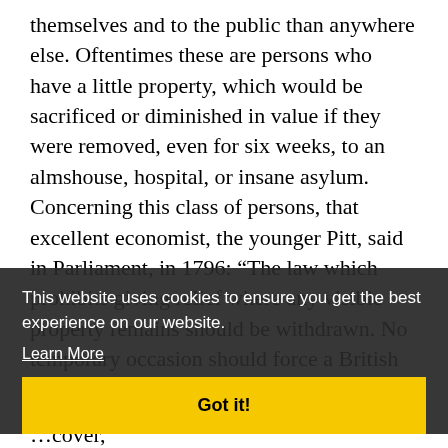themselves and to the public than anywhere else. Oftentimes these are persons who have a little property, which would be sacrificed or diminished in value if they were removed, even for six weeks, to an almshouse, hospital, or insane asylum. Concerning this class of persons, that excellent economist, the younger Pitt, said in Parliament, in 1796: “The law which prohibits giving relief where any visible property remains should be withdrawn. No temporary occasion should force a British subject to part with the last shilling of his … recover, merely that he might be entitled to a casual
This website uses cookies to ensure you get the best experience on our website.
Learn More
Got it!